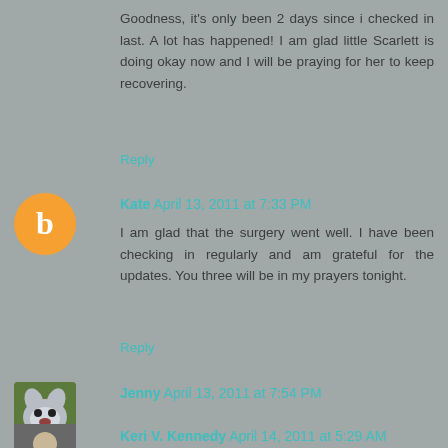Goodness, it's only been 2 days since i checked in last. A lot has happened! I am glad little Scarlett is doing okay now and I will be praying for her to keep recovering.
Reply
Kate  April 13, 2011 at 7:33 PM
I am glad that the surgery went well. I have been checking in regularly and am grateful for the updates. You three will be in my prayers tonight.
Reply
Jenny  April 13, 2011 at 7:54 PM
Praying for you guys. Stay strong Scarlet, and momma too. :)
Reply
Keri V. Kennedy  April 14, 2011 at 5:29 AM